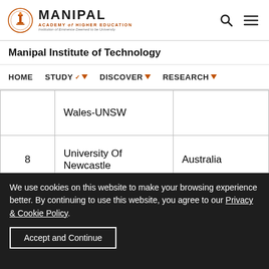MANIPAL ACADEMY of HIGHER EDUCATION — Manipal Institute of Technology
HOME  STUDY  DISCOVER  RESEARCH
|  | Institution | Country |
| --- | --- | --- |
|  | Wales-UNSW |  |
| 8 | University Of Newcastle | Australia |
| 9 | University Of Queensland | Australia |
We use cookies on this website to make your browsing experience better. By continuing to use this website, you agree to our Privacy & Cookie Policy.
Accept and Continue